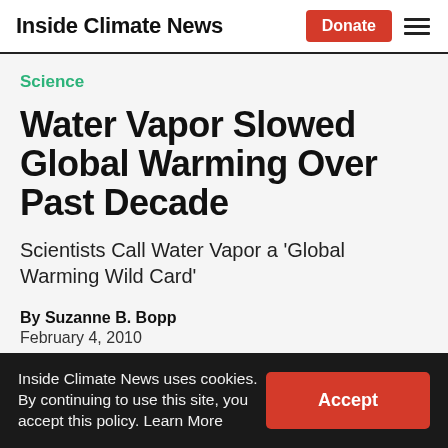Inside Climate News
Science
Water Vapor Slowed Global Warming Over Past Decade
Scientists Call Water Vapor a 'Global Warming Wild Card'
By Suzanne B. Bopp
February 4, 2010
Inside Climate News uses cookies. By continuing to use this site, you accept this policy. Learn More